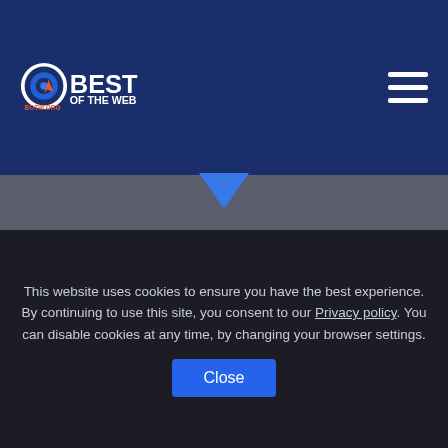Best of the Web - BOTW.ORG
Top Cities
Search the top locations and discover local businesses with reviews, photos, and locations
Charlotte, NC
This website uses cookies to ensure you have the best experience. By continuing to use this site, you consent to our Privacy policy. You can disable cookies at any time, by changing your browser settings.
Close